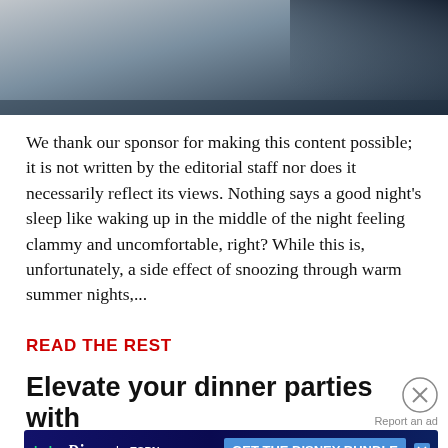[Figure (photo): Partial photo showing what appears to be a gray and dark navy fabric or bedding, cropped at the top of the page]
We thank our sponsor for making this content possible; it is not written by the editorial staff nor does it necessarily reflect its views. Nothing says a good night's sleep like waking up in the middle of the night feeling clammy and uncomfortable, right? While this is, unfortunately, a side effect of snoozing through warm summer nights,...
READ THE REST
Elevate your dinner parties with this award-winning whiskey...
Report an ad
[Figure (screenshot): Disney Bundle advertisement banner showing Hulu, Disney+, and ESPN+ logos with 'GET THE DISNEY BUNDLE' call to action button and fine print text]